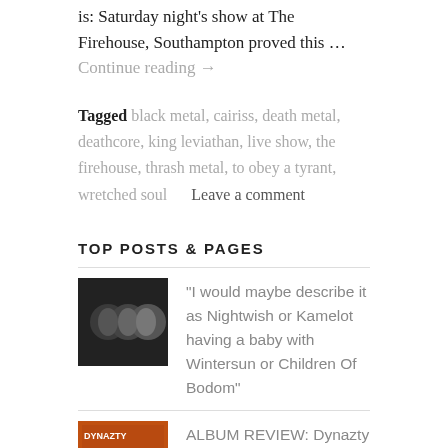is: Saturday night's show at The Firehouse, Southampton proved this … Continue reading →
Tagged black metal, cairiss, death metal, deathcore, king leviathan, live show, the firehouse, thrash metal, to obey a tyrant, wretched soul      Leave a comment
TOP POSTS & PAGES
"I would maybe describe it as Nightwish or Kamelot having a baby with Wintersun or Children Of Bodom"
ALBUM REVIEW: Dynazty - Final Advent
Contact Us